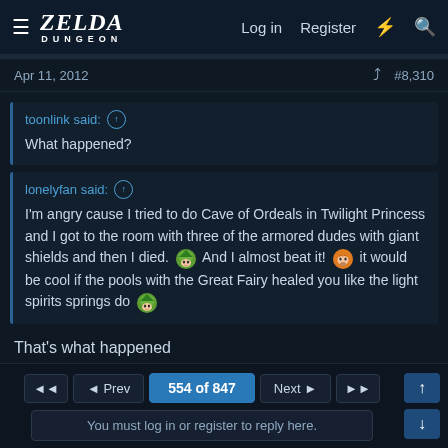ZELDA DUNGEON — Log in  Register
Apr 11, 2012   #8,310
toonlink said: ↑
What happened?
lonelyfan said: ↑
I'm angry cause I tried to do Cave of Ordeals in Twilight Princess and I got to the room with three of the armored dudes with giant shields and then I died. 😢 And I almost beat it! 😮 it would be cool if the pools with the Great Fairy healed you like the light spirits springs do 😊
That's what happened
◄◄  ◄ Prev  554 of 847  Next ►  ►►   ↑  ↓   You must log in or register to reply here.